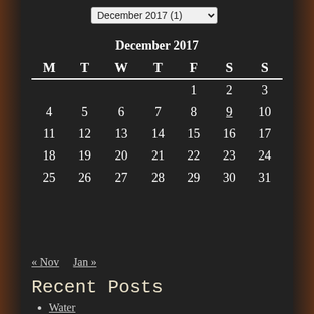December 2017 (1)
| M | T | W | T | F | S | S |
| --- | --- | --- | --- | --- | --- | --- |
|  |  |  |  | 1 | 2 | 3 |
| 4 | 5 | 6 | 7 | 8 | 9 | 10 |
| 11 | 12 | 13 | 14 | 15 | 16 | 17 |
| 18 | 19 | 20 | 21 | 22 | 23 | 24 |
| 25 | 26 | 27 | 28 | 29 | 30 | 31 |
« Nov   Jan »
Recent Posts
Water
Pens
Thank You!